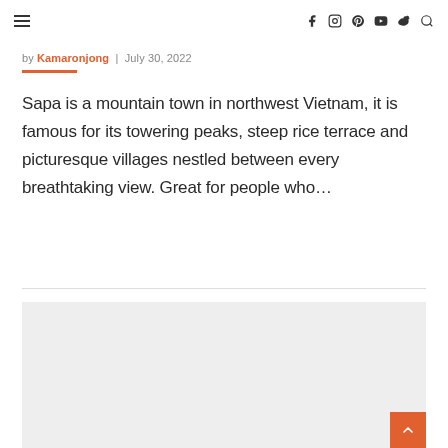≡  [icons: facebook, instagram, pinterest, youtube, weibo, search]
by Kamaronjong  |  July 30, 2022
Sapa is a mountain town in northwest Vietnam, it is famous for its towering peaks, steep rice terrace and picturesque villages nestled between every breathtaking view. Great for people who…
[Figure (photo): Light grey placeholder image block below a divider line, with an orange scroll-to-top button in the bottom-right corner]